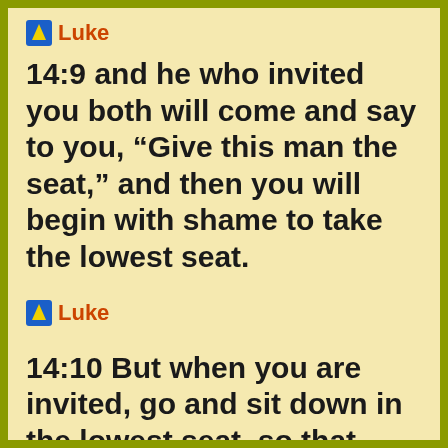Luke
14:9 and he who invited you both will come and say to you, “Give this man the seat,” and then you will begin with shame to take the lowest seat.
Luke
14:10 But when you are invited, go and sit down in the lowest seat, so that when he who